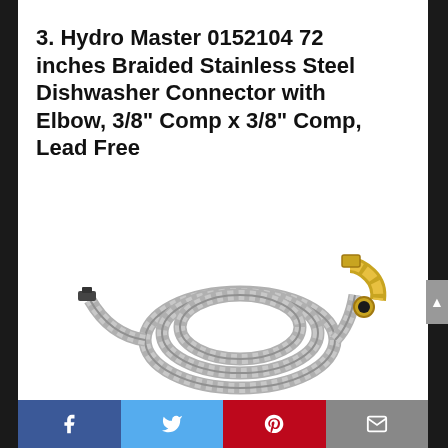3. Hydro Master 0152104 72 inches Braided Stainless Steel Dishwasher Connector with Elbow, 3/8" Comp x 3/8" Comp, Lead Free
[Figure (photo): A coiled braided stainless steel dishwasher connector hose approximately 72 inches long, with a brass 90-degree elbow fitting on one end and a straight compression fitting on the other end.]
Facebook | Twitter | Pinterest | Email